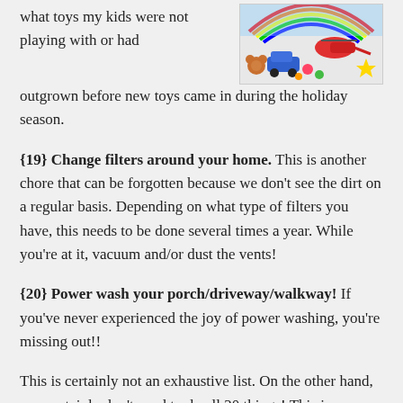[Figure (photo): Colorful children's toys including vehicles, helicopter, and stuffed animals arranged together]
what toys my kids were not playing with or had outgrown before new toys came in during the holiday season.
{19} Change filters around your home. This is another chore that can be forgotten because we don't see the dirt on a regular basis. Depending on what type of filters you have, this needs to be done several times a year. While you're at it, vacuum and/or dust the vents!
{20} Power wash your porch/driveway/walkway! If you've never experienced the joy of power washing, you're missing out!!
This is certainly not an exhaustive list. On the other hand, you certainly don't need to do all 20 things! This is